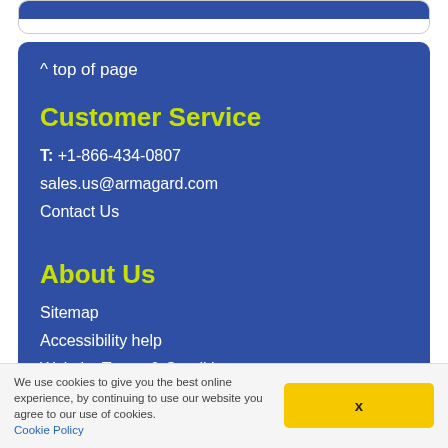^ top of page
Customer Service
T: +1-866-434-0807
sales.us@armagard.com
Contact Us
About Us
Sitemap
Accessibility help
Website Terms & Conditions
We use cookies to give you the best online experience, by continuing to use our website you agree to our use of cookies. Cookie Policy